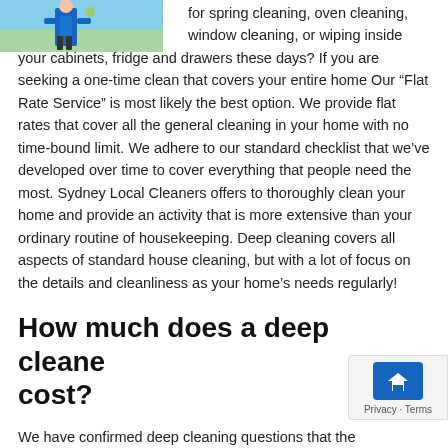[Figure (photo): Photo of a cleaning professional in blue uniform]
for spring cleaning, oven cleaning, window cleaning, or wiping inside your cabinets, fridge and drawers these days? If you are seeking a one-time clean that covers your entire home Our “Flat Rate Service” is most likely the best option. We provide flat rates that cover all the general cleaning in your home with no time-bound limit. We adhere to our standard checklist that we’ve developed over time to cover everything that people need the most. Sydney Local Cleaners offers to thoroughly clean your home and provide an activity that is more extensive than your ordinary routine of housekeeping. Deep cleaning covers all aspects of standard house cleaning, but with a lot of focus on the details and cleanliness as your home’s needs regularly!
How much does a deep cleane cost?
We haveConfirmed deep cleaning questions that the...